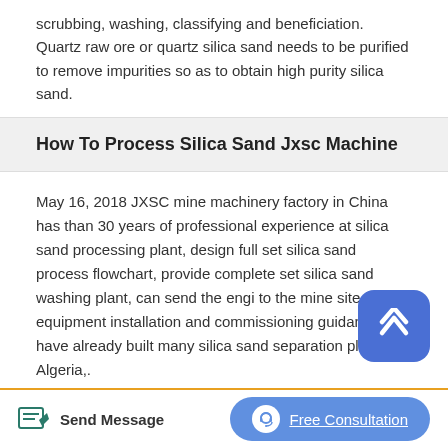scrubbing, washing, classifying and beneficiation. Quartz raw ore or quartz silica sand needs to be purified to remove impurities so as to obtain high purity silica sand.
How To Process Silica Sand Jxsc Machine
May 16, 2018 JXSC mine machinery factory in China has than 30 years of professional experience at silica sand processing plant, design full set silica sand process flowchart, provide complete set silica sand washing plant, can send the engi to the mine site for equipment installation and commissioning guidance. We have already built many silica sand separation plants in Algeria,.
100t H Silica Sand Mining Processing Plant
Send Message
Free Consultation